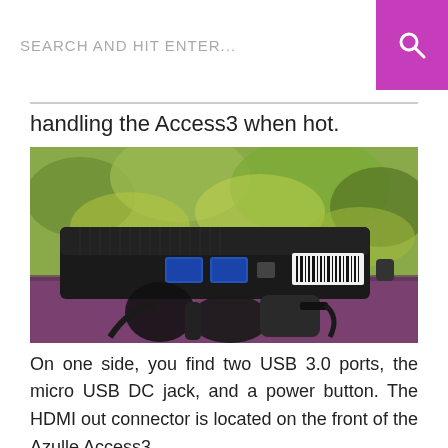SEARCH AND HIT ENTER...
handling the Access3 when hot.
[Figure (photo): Side view of the Azulle Access3 mini PC showing USB 3.0 ports, micro USB DC jack, and a barcode sticker, resting on a purple surface with cables and a power adapter visible below, with green foliage in the background.]
On one side, you find two USB 3.0 ports, the micro USB DC jack, and a power button. The HDMI out connector is located on the front of the Azulle Access3.
[Figure (photo): Partial view of an outdoor scene with green foliage and a dark pole, likely showing surroundings of where the device is being used.]